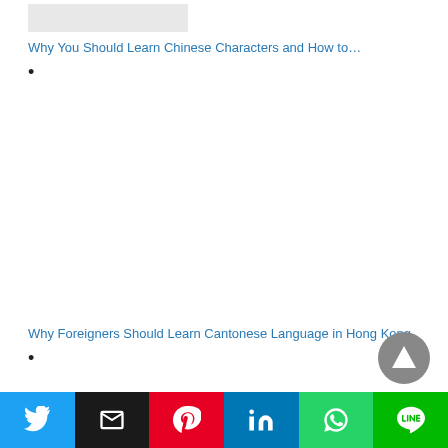[Figure (other): Small grey placeholder image/thumbnail at top]
Why You Should Learn Chinese Characters and How to…
•
[Figure (other): Large white space placeholder for an article image]
Why Foreigners Should Learn Cantonese Language in Hong Kong
•
[Figure (other): Scroll-to-top circular button with triangle arrow]
Social share bar: Twitter, Email, Pinterest, LinkedIn, WhatsApp, LINE